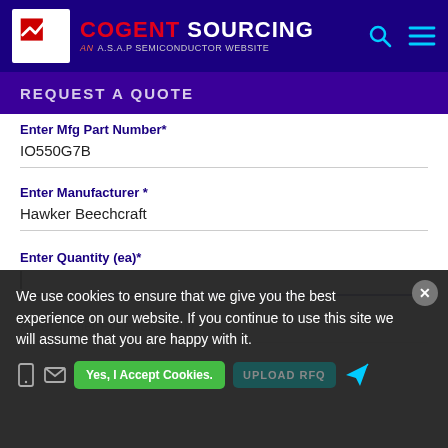Cogent Sourcing — AN A.S.A.P SEMICONDUCTOR WEBSITE
REQUEST A QUOTE
Enter Mfg Part Number*
IO550G7B
Enter Manufacturer *
Hawker Beechcraft
Enter Quantity (ea)*
Enter Target Price (ea) USD
We use cookies to ensure that we give you the best experience on our website. If you continue to use this site we will assume that you are happy with it.